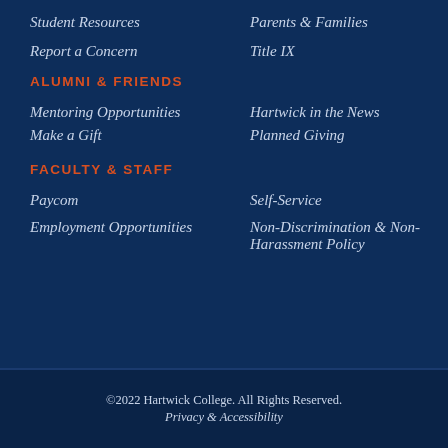Student Resources
Parents & Families
Report a Concern
Title IX
ALUMNI & FRIENDS
Mentoring Opportunities
Hartwick in the News
Make a Gift
Planned Giving
FACULTY & STAFF
Paycom
Self-Service
Employment Opportunities
Non-Discrimination & Non-Harassment Policy
©2022 Hartwick College. All Rights Reserved.
Privacy & Accessibility